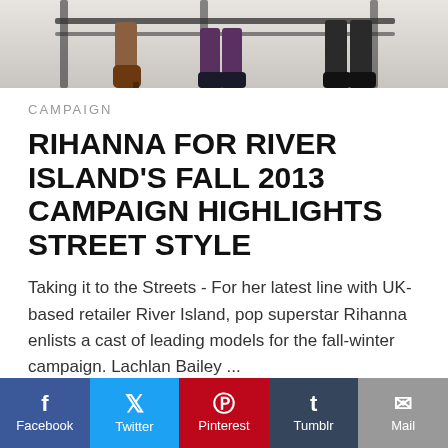[Figure (photo): Cropped fashion photo showing legs and boots of models standing near a railing or urban setting]
CAMPAIGN
RIHANNA FOR RIVER ISLAND'S FALL 2013 CAMPAIGN HIGHLIGHTS STREET STYLE
Taking it to the Streets - For her latest line with UK-based retailer River Island, pop superstar Rihanna enlists a cast of leading models for the fall-winter campaign. Lachlan Bailey ...
Read More
Facebook  Twitter  Pinterest  Tumblr  Mail